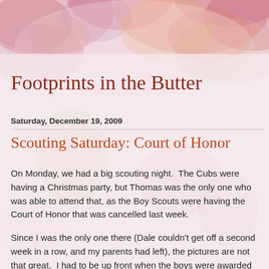[Figure (illustration): Watercolor floral background with pink, rose, purple, and peach tones covering the top portion of the page and fading into a light lavender-pink wash behind the text area.]
Footprints in the Butter
Saturday, December 19, 2009
Scouting Saturday: Court of Honor
On Monday, we had a big scouting night.  The Cubs were having a Christmas party, but Thomas was the only one who was able to attend that, as the Boy Scouts were having the Court of Honor that was cancelled last week.
Since I was the only one there (Dale couldn't get off a second week in a row, and my parents had left), the pictures are not that great.  I had to be up front when the boys were awarded with their ranks, so we didn't get pictures of that at all.  I'll post pictures of both of them when I get the new...